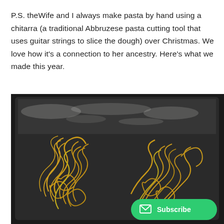P.S. theWife and I always make pasta by hand using a chitarra (a traditional Abbruzese pasta cutting tool that uses guitar strings to slice the dough) over Christmas. We love how it's a connection to her ancestry. Here's what we made this year.
[Figure (photo): Fresh handmade pasta noodles in a tangle on a dark floured baking tray, viewed from above. A green 'Subscribe' button with envelope icon overlaid in the bottom-right corner.]